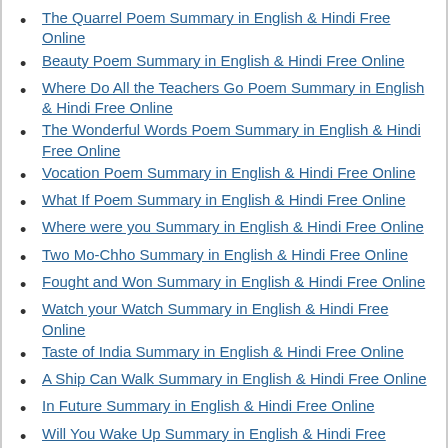The Quarrel Poem Summary in English & Hindi Free Online
Beauty Poem Summary in English & Hindi Free Online
Where Do All the Teachers Go Poem Summary in English & Hindi Free Online
The Wonderful Words Poem Summary in English & Hindi Free Online
Vocation Poem Summary in English & Hindi Free Online
What If Poem Summary in English & Hindi Free Online
Where were you Summary in English & Hindi Free Online
Two Mo-Chho Summary in English & Hindi Free Online
Fought and Won Summary in English & Hindi Free Online
Watch your Watch Summary in English & Hindi Free Online
Taste of India Summary in English & Hindi Free Online
A Ship Can Walk Summary in English & Hindi Free Online
In Future Summary in English & Hindi Free Online
Will You Wake Up Summary in English & Hindi Free Online
Fifth of the Sixth Summary in English & Hindi Free Online
In the Land of Lilliput Summary in English & Hindi Free Online